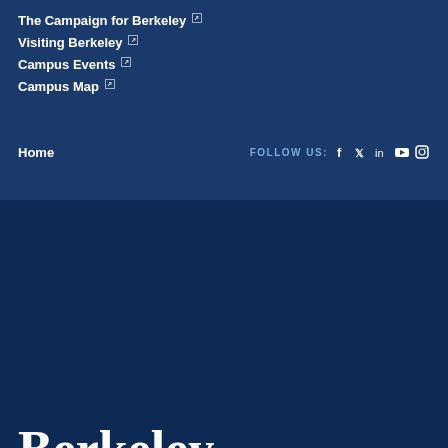The Campaign for Berkeley (link)
Visiting Berkeley (link)
Campus Events (link)
Campus Map (link)
Home
FOLLOW US:
[Figure (logo): Berkeley University of California logo in white]
Powered by Open Berkeley (link)
Accessibility (link)
Nondiscrimination (link)
Privacy (link)
Copyright © 2022 UC Regents; all rights reserved
Back to Top